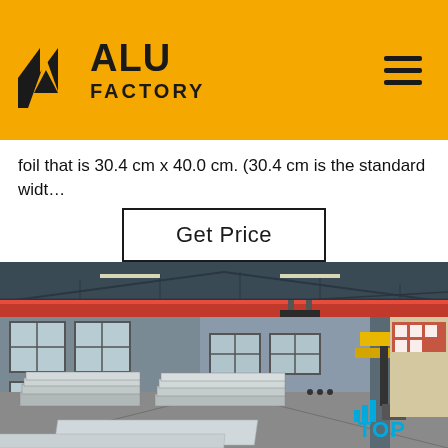ALU FACTORY
foil that is 30.4 cm x 40.0 cm. (30.4 cm is the standard widt…
Get Price
[Figure (photo): Interior of a large industrial factory/warehouse with overhead red cranes, large windows, metal sheet stacks on the floor, and yellow lifting equipment on the right side.]